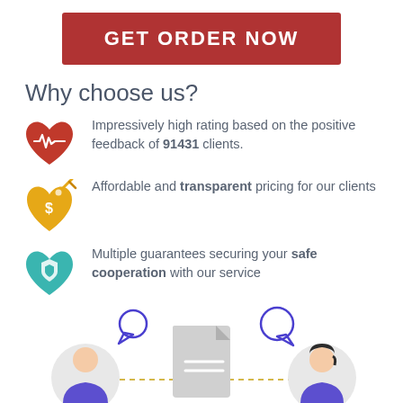GET ORDER NOW
Why choose us?
Impressively high rating based on the positive feedback of 91431 clients.
Affordable and transparent pricing for our clients
Multiple guarantees securing your safe cooperation with our service
[Figure (illustration): Bottom section showing two person avatars and a document icon connected by a dashed line, with speech bubbles above each person]